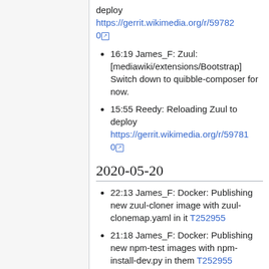deploy
https://gerrit.wikimedia.org/r/597820
16:19 James_F: Zuul: [mediawiki/extensions/Bootstrap] Switch down to quibble-composer for now.
15:55 Reedy: Reloading Zuul to deploy https://gerrit.wikimedia.org/r/597810
2020-05-20
22:13 James_F: Docker: Publishing new zuul-cloner image with zuul-clonemap.yaml in it T252955
21:18 James_F: Docker: Publishing new npm-test images with npm-install-dev.py in them T252955